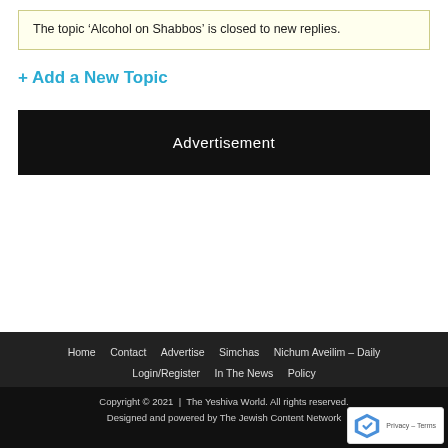The topic ‘Alcohol on Shabbos’ is closed to new replies.
+ Add a New Topic
[Figure (other): Advertisement banner (black background with white 'Advertisement' text)]
Home  Contact  Advertise  Simchas  Nichum Aveilim – Daily  Login/Register  In The News  Policy  Copyright © 2021 | The Yeshiva World. All rights reserved.  Designed and powered by The Jewish Content Network